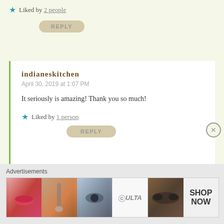Liked by 2 people
REPLY
indianeskitchen
April 30, 2019 at 1:07 PM
It seriously is amazing! Thank you so much!
Liked by 1 person
REPLY
thebookofjess7504
April 30, 2019 at 1:27 PM
Wow! No wonder your grandchildren asked for seconds! I would too! Great recipe!
Advertisements
[Figure (photo): Advertisement banner with makeup/beauty images and ULTA branding with SHOP NOW text]